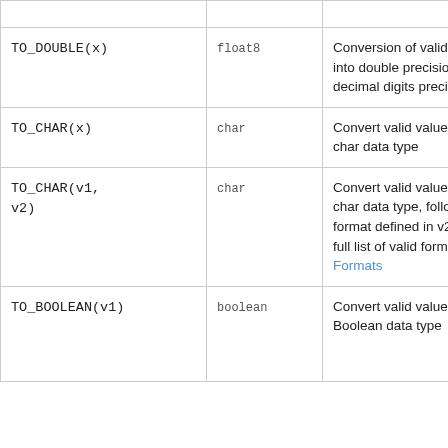| Syntax | Return type | Description | Example |
| --- | --- | --- | --- |
| TO_DOUBLE(x) | float8 | Conversion of valid values into double precision (16 decimal digits precision) | TO_DOUBLE(91321… |
| TO_CHAR(x) | char | Convert valid values into char data type | TO_CHAR(1123) |
| TO_CHAR(v1, v2) | char | Convert valid values into char data type, following the format defined in v2. For a full list of valid format, check Formats | TO_CHAR(-125.8,… |
| TO_BOOLEAN(v1) | boolean | Convert valid values into Boolean data type | TO_BOOLEAN(1) |